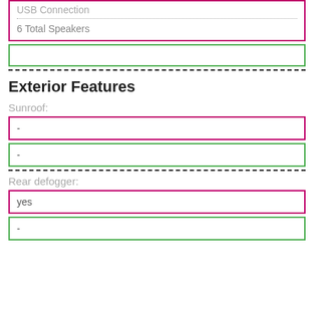USB Connection
6 Total Speakers
Exterior Features
Sunroof:
-
-
Rear defogger:
yes
-